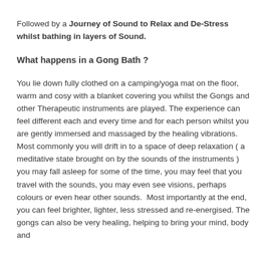Followed by a Journey of Sound to Relax and De-Stress whilst bathing in layers of Sound.
What happens in a Gong Bath ?
You lie down fully clothed on a camping/yoga mat on the floor, warm and cosy with a blanket covering you whilst the Gongs and other Therapeutic instruments are played. The experience can feel different each and every time and for each person whilst you are gently immersed and massaged by the healing vibrations. Most commonly you will drift in to a space of deep relaxation ( a meditative state brought on by the sounds of the instruments ) you may fall asleep for some of the time, you may feel that you travel with the sounds, you may even see visions, perhaps colours or even hear other sounds.  Most importantly at the end, you can feel brighter, lighter, less stressed and re-energised. The gongs can also be very healing, helping to bring your mind, body and